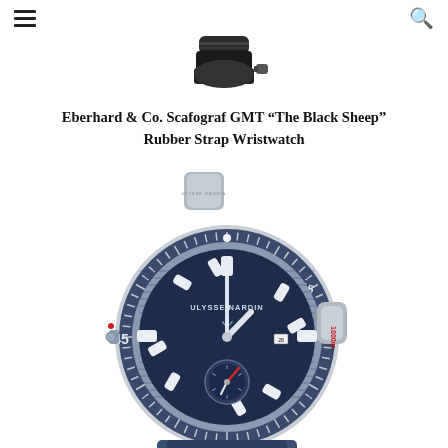≡  🔍
[Figure (photo): Partial view of a black rubber strap wristwatch, showing only the top strap and crown area against a white background.]
Eberhard & Co. Scafograf GMT “The Black Sheep” Rubber Strap Wristwatch
[Figure (photo): Ulysse Nardin diver wristwatch with a navy blue dial, silver stainless steel case, blue and white rubber strap, bezel with minute markers showing 45, 15, 30, a sub-dial at 6 o'clock with a red pointer, and a crown protector. 'LIMITED EDITION' text visible on the strap.]